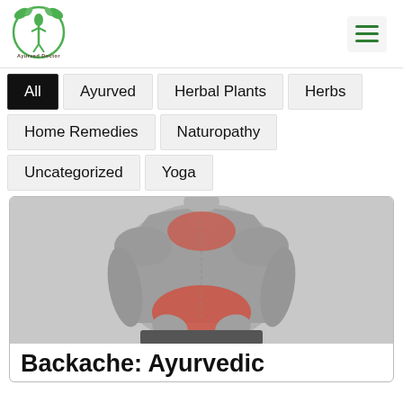[Figure (logo): Ayurved Doctor logo with green plant/figure emblem]
All
Ayurved
Herbal Plants
Herbs
Home Remedies
Naturopathy
Uncategorized
Yoga
[Figure (photo): Grayscale photo of a person's back showing red highlighted pain areas at the upper back and lower back, suggesting backache]
Backache: Ayurvedic